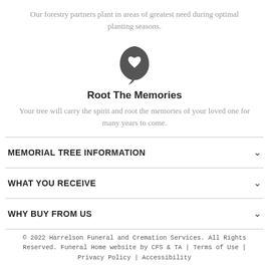Our forestry partners plant in areas of greatest need during optimal planting seasons.
[Figure (illustration): A dark gray leaf icon with a heart cutout in the center]
Root The Memories
Your tree will carry the spirit and root the memories of your loved one for many years to come.
MEMORIAL TREE INFORMATION
WHAT YOU RECEIVE
WHY BUY FROM US
© 2022 Harrelson Funeral and Cremation Services. All Rights Reserved. Funeral Home website by CFS & TA | Terms of Use | Privacy Policy | Accessibility